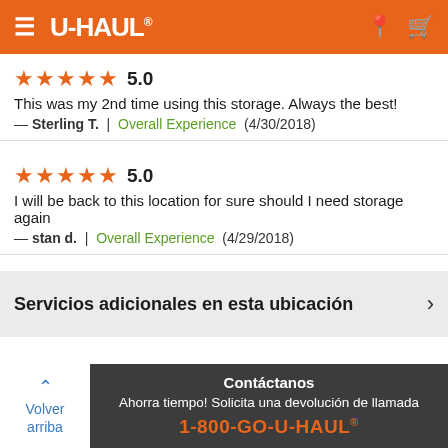U-HAUL
★★★★★ 5.0
This was my 2nd time using this storage. Always the best!
— Sterling T. | Overall Experience (4/30/2018)
★★★★★ 5.0
I will be back to this location for sure should I need storage again
— stan d. | Overall Experience (4/29/2018)
Servicios adicionales en esta ubicación
Volver arriba
Contáctanos
Ahorra tiempo! Solicita una devolución de llamada
1-800-GO-U-HAUL®